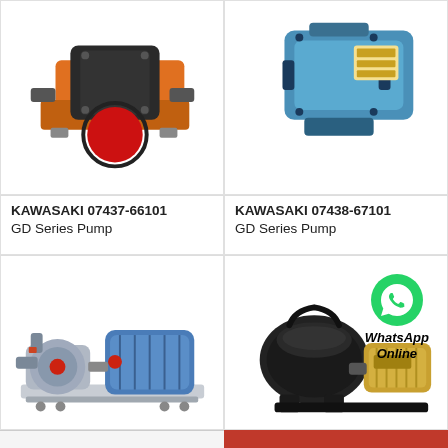[Figure (photo): Kawasaki GD Series Pump 07437-66101 — orange/black industrial pump with red circular element, top-left]
[Figure (photo): Kawasaki GD Series Pump 07438-67101 — blue industrial pump/motor unit, top-right]
KAWASAKI 07437-66101 GD Series Pump
KAWASAKI 07438-67101 GD Series Pump
[Figure (photo): Industrial rotary/lobe pump on stainless steel base with blue motor and red element, bottom-left]
[Figure (photo): Black and gold pool/water pump with WhatsApp Online overlay, bottom-right]
All Products
Contact Now